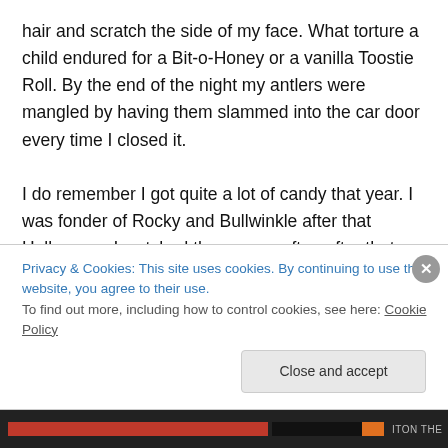hair and scratch the side of my face. What torture a child endured for a Bit-o-Honey or a vanilla Toostie Roll. By the end of the night my antlers were mangled by having them slammed into the car door every time I closed it.

I do remember I got quite a lot of candy that year. I was fonder of Rocky and Bullwinkle after that Halloween. I watched them more often after that and once they started reruns when I was older I got the adult comedy that was in the show as well.

Rocky and Bullwinkle ran as a new show from 1959 to
Privacy & Cookies: This site uses cookies. By continuing to use this website, you agree to their use.
To find out more, including how to control cookies, see here: Cookie Policy
Close and accept